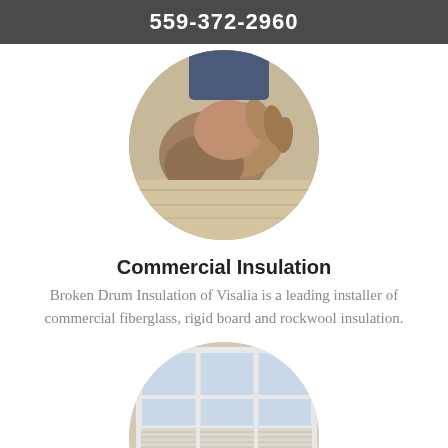559-372-2960
[Figure (photo): Circular photo of a person wearing work gloves handling insulation material]
Commercial Insulation
Broken Drum Insulation of Visalia is a leading installer of commercial fiberglass, rigid board and rockwool insulation.
[Figure (photo): Circular photo of a bright room interior with large white-framed windows and a chair with ottoman]